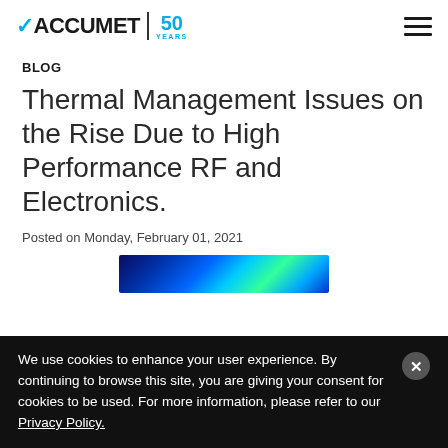ACCUMET 50 YEARS
BLOG
Thermal Management Issues on the Rise Due to High Performance RF and Electronics.
Posted on Monday, February 01, 2021
[Figure (photo): Thermal imaging photo showing heat distribution in blue, cyan, and green tones on an electronic component]
We use cookies to enhance your user experience. By continuing to browse this site, you are giving your consent for cookies to be used. For more information, please refer to our Privacy Policy.